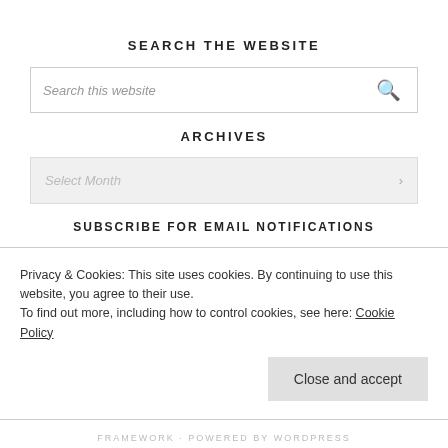SEARCH THE WEBSITE
[Figure (screenshot): Search input box with placeholder text 'Search this website' and a search icon on the right]
ARCHIVES
[Figure (screenshot): Dropdown select box with placeholder text 'Select Month' and a dropdown arrow on the right]
SUBSCRIBE FOR EMAIL NOTIFICATIONS
[Figure (screenshot): Email input box with placeholder text 'Enter your Email Address here']
Privacy & Cookies: This site uses cookies. By continuing to use this website, you agree to their use.
To find out more, including how to control cookies, see here: Cookie Policy
FRAMEWORK · POWERED BY WORDPRESS